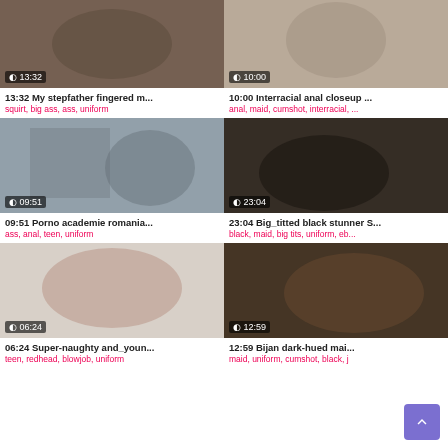[Figure (photo): Video thumbnail with duration 13:32]
13:32 My stepfather fingered m...
squirt, big ass, ass, uniform
[Figure (photo): Video thumbnail with duration 10:00]
10:00 Interracial anal closeup ...
anal, maid, cumshot, interracial, ...
[Figure (photo): Video thumbnail with duration 09:51]
09:51 Porno academie romania...
ass, anal, teen, uniform
[Figure (photo): Video thumbnail with duration 23:04]
23:04 Big_titted black stunner S...
black, maid, big tits, uniform, eb...
[Figure (photo): Video thumbnail with duration 06:24]
06:24 Super-naughty and_youn...
teen, redhead, blowjob, uniform
[Figure (photo): Video thumbnail with duration 12:59]
12:59 Bijan dark-hued mai...
maid, uniform, cumshot, black, j